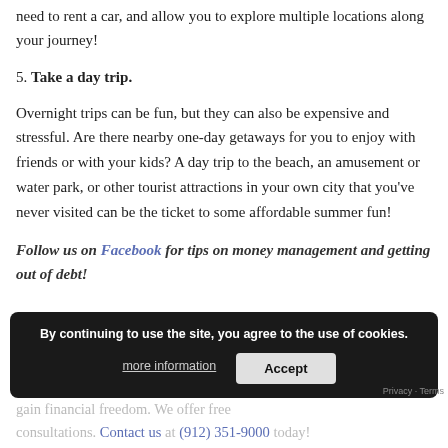need to rent a car, and allow you to explore multiple locations along your journey!
5. Take a day trip.
Overnight trips can be fun, but they can also be expensive and stressful. Are there nearby one-day getaways for you to enjoy with friends or with your kids? A day trip to the beach, an amusement or water park, or other tourist attractions in your own city that you’ve never visited can be the ticket to some affordable summer fun!
Follow us on Facebook for tips on money management and getting out of debt!
By continuing to use the site, you agree to the use of cookies.
We help our clients and the community struggles a gain financial freedom. We offer free consultations. Contact us at (912) 351-9000 today!